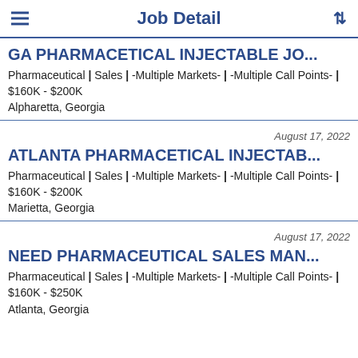Job Detail
GA PHARMACETICAL INJECTABLE JO...
Pharmaceutical | Sales | -Multiple Markets- | -Multiple Call Points- | $160K - $200K
Alpharetta, Georgia
August 17, 2022
ATLANTA PHARMACETICAL INJECTAB...
Pharmaceutical | Sales | -Multiple Markets- | -Multiple Call Points- | $160K - $200K
Marietta, Georgia
August 17, 2022
NEED PHARMACEUTICAL SALES MAN...
Pharmaceutical | Sales | -Multiple Markets- | -Multiple Call Points- | $160K - $250K
Atlanta, Georgia